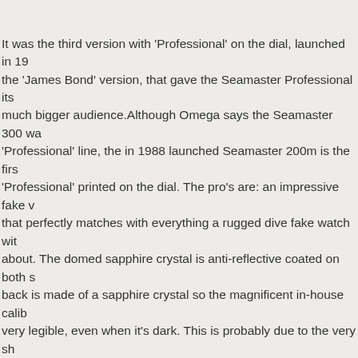It was the third version with 'Professional' on the dial, launched in 19... the 'James Bond' version, that gave the Seamaster Professional its much bigger audience.Although Omega says the Seamaster 300 wa... 'Professional' line, the in 1988 launched Seamaster 200m is the firs... 'Professional' printed on the dial. The pro's are: an impressive fake v... that perfectly matches with everything a rugged dive fake watch wit... about. The domed sapphire crystal is anti-reflective coated on both s... back is made of a sapphire crystal so the magnificent in-house calib... very legible, even when it's dark. This is probably due to the very sh...